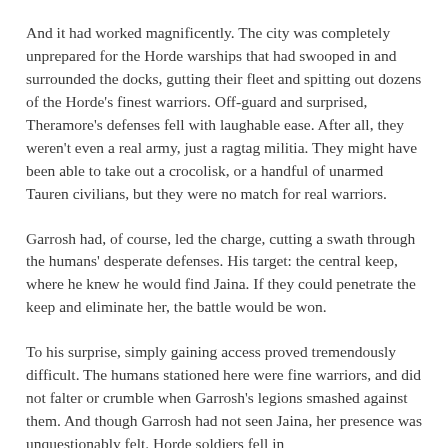And it had worked magnificently. The city was completely unprepared for the Horde warships that had swooped in and surrounded the docks, gutting their fleet and spitting out dozens of the Horde's finest warriors. Off-guard and surprised, Theramore's defenses fell with laughable ease. After all, they weren't even a real army, just a ragtag militia. They might have been able to take out a crocolisk, or a handful of unarmed Tauren civilians, but they were no match for real warriors.
Garrosh had, of course, led the charge, cutting a swath through the humans' desperate defenses. His target: the central keep, where he knew he would find Jaina. If they could penetrate the keep and eliminate her, the battle would be won.
To his surprise, simply gaining access proved tremendously difficult. The humans stationed here were fine warriors, and did not falter or crumble when Garrosh's legions smashed against them. And though Garrosh had not seen Jaina, her presence was unquestionably felt. Horde soldiers fell in